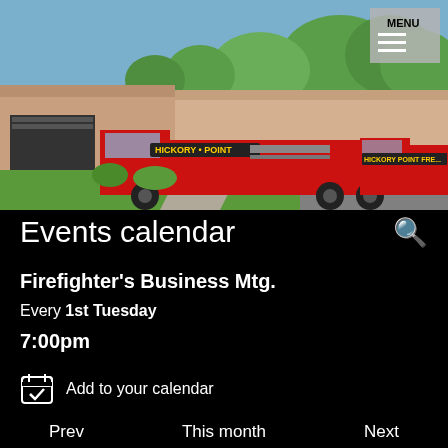[Figure (photo): Hickory Point Fire Protection District fire station with two red fire trucks parked in front of the building on a sunny day with green lawn.]
Events calendar
Firefighter's Business Mtg.
Every 1st Tuesday
7:00pm
Add to your calendar
Prev   This month   Next